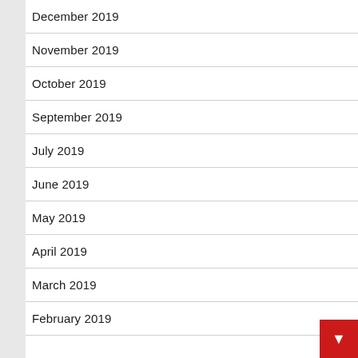December 2019
November 2019
October 2019
September 2019
July 2019
June 2019
May 2019
April 2019
March 2019
February 2019